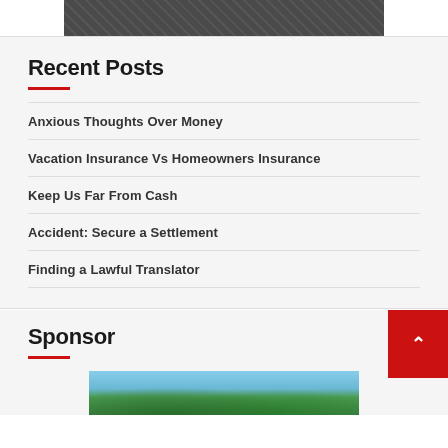[Figure (photo): Dark textured image bar at top of page]
Recent Posts
Anxious Thoughts Over Money
Vacation Insurance Vs Homeowners Insurance
Keep Us Far From Cash
Accident: Secure a Settlement
Finding a Lawful Translator
Sponsor
[Figure (photo): Tropical beach scene with palm trees]